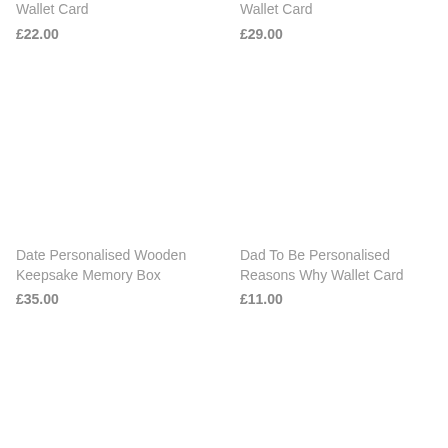Wallet Card
£22.00
Wallet Card
£29.00
Date Personalised Wooden Keepsake Memory Box
£35.00
Dad To Be Personalised Reasons Why Wallet Card
£11.00